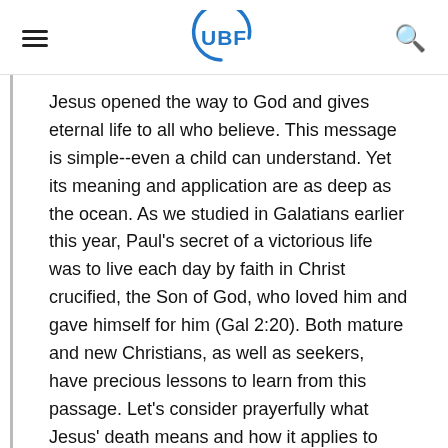UBF
Jesus opened the way to God and gives eternal life to all who believe. This message is simple--even a child can understand. Yet its meaning and application are as deep as the ocean. As we studied in Galatians earlier this year, Paul's secret of a victorious life was to live each day by faith in Christ crucified, the Son of God, who loved him and gave himself for him (Gal 2:20). Both mature and new Christians, as well as seekers, have precious lessons to learn from this passage. Let's consider prayerfully what Jesus' death means and how it applies to each of us personally.
We will study in two parts: Jesus' crucifixion (27-44),